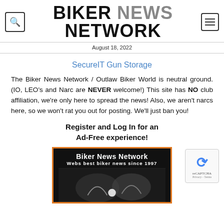BIKER NEWS NETWORK
August 18, 2022
SecureIT Gun Storage
The Biker News Network / Outlaw Biker World is neutral ground. (IO, LEO's and Narc are NEVER welcome!) This site has NO club affiliation, we're only here to spread the news! Also, we aren't narcs here, so we won't rat you out for posting. We'll just ban you!
Register and Log In for an Ad-Free experience!
[Figure (logo): Biker News Network advertisement banner with orange border on black background reading 'BIKER NEWS NETWORK – WEBS BEST BIKER NEWS SINCE 1997' with biker imagery below]